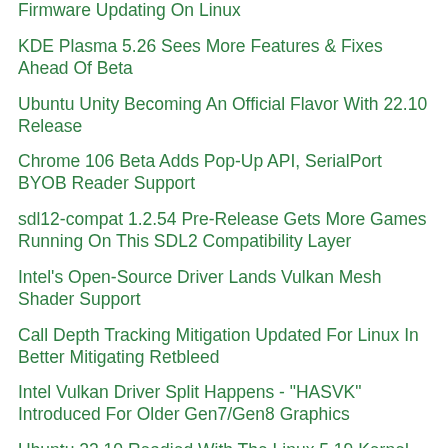Firmware Updating On Linux
KDE Plasma 5.26 Sees More Features & Fixes Ahead Of Beta
Ubuntu Unity Becoming An Official Flavor With 22.10 Release
Chrome 106 Beta Adds Pop-Up API, SerialPort BYOB Reader Support
sdl12-compat 1.2.54 Pre-Release Gets More Games Running On This SDL2 Compatibility Layer
Intel's Open-Source Driver Lands Vulkan Mesh Shader Support
Call Depth Tracking Mitigation Updated For Linux In Better Mitigating Retbleed
Intel Vulkan Driver Split Happens - "HASVK" Introduced For Older Gen7/Gen8 Graphics
Ubuntu 22.10 Readied With The Linux 5.19 Kernel
Mesa's Rust OpenCL Implementation Expected To Be Merged In Coming Days
Systemd OOMD Will Now Honor "ManagedOOMPreference" For All cgroups
Mesa's LLVMpipe Driver Begins Experimenting With AVX-512